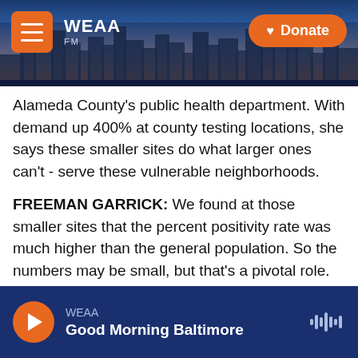[Figure (screenshot): WEAA radio website header with city skyline photo, hamburger menu button, WEAA logo, and orange Donate button]
Alameda County's public health department. With demand up 400% at county testing locations, she says these smaller sites do what larger ones can't - serve these vulnerable neighborhoods.
FREEMAN GARRICK: We found at those smaller sites that the percent positivity rate was much higher than the general population. So the numbers may be small, but that's a pivotal role.
GABY PEREZ: So go ahead and pull your mask down. And open your mouth and stick your tongue out.
WEAA — Good Morning Baltimore